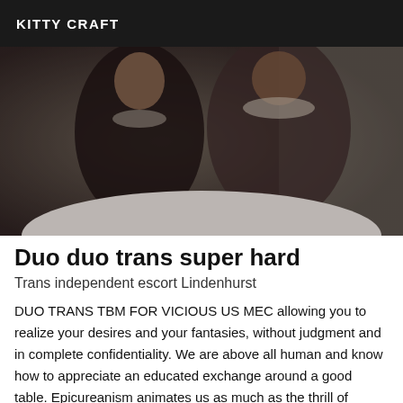KITTY CRAFT
[Figure (photo): Two people posing together in dark outfits with decorative accessories, mirror selfie in a bathroom setting]
Duo duo trans super hard
Trans independent escort Lindenhurst
DUO TRANS TBM FOR VICIOUS US MEC allowing you to realize your desires and your fantasies, without judgment and in complete confidentiality. We are above all human and know how to appreciate an educated exchange around a good table. Epicureanism animates us as much as the thrill of discovery. Our photos are real. We move and we receive. During the day or in the